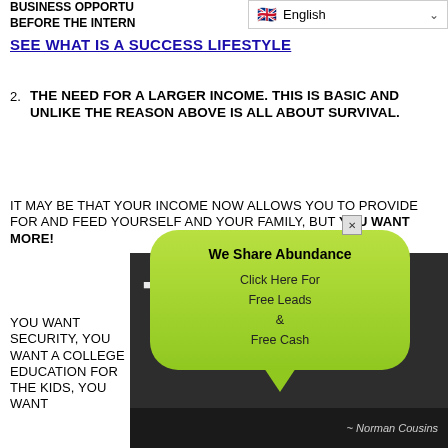BUSINESS OPPORTUNITIES BEFORE THE INTERNET
SEE WHAT IS A SUCCESS LIFESTYLE
2. THE NEED FOR A LARGER INCOME. THIS IS BASIC AND UNLIKE THE REASON ABOVE IS ALL ABOUT SURVIVAL.
IT MAY BE THAT YOUR INCOME NOW ALLOWS YOU TO PROVIDE FOR AND FEED YOURSELF AND YOUR FAMILY, BUT YOU WANT MORE!
YOU WANT SECURITY, YOU WANT A COLLEGE EDUCATION FOR THE KIDS, YOU WANT
[Figure (screenshot): A green speech bubble popup overlay on a dark background showing 'We Share Abundance - Click Here For Free Leads & Free Cash' with a close button and a partial letter T visible in the background. Bottom shows '~ Norman Cousins' quote attribution.]